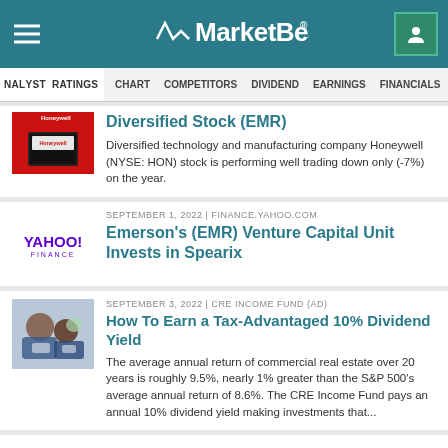MarketBeat
ANALYST RATINGS | CHART | COMPETITORS | DIVIDEND | EARNINGS | FINANCIALS
Diversified Stock (EMR)
Diversified technology and manufacturing company Honeywell (NYSE: HON) stock is performing well trading down only (-7%) on the year.
SEPTEMBER 1, 2022 | FINANCE.YAHOO.COM
Emerson's (EMR) Venture Capital Unit Invests in Spearix
SEPTEMBER 3, 2022 | CRE INCOME FUND (AD)
How To Earn a Tax-Advantaged 10% Dividend Yield
The average annual return of commercial real estate over 20 years is roughly 9.5%, nearly 1% greater than the S&P 500's average annual return of 8.6%. The CRE Income Fund pays an annual 10% dividend yield making investments that...